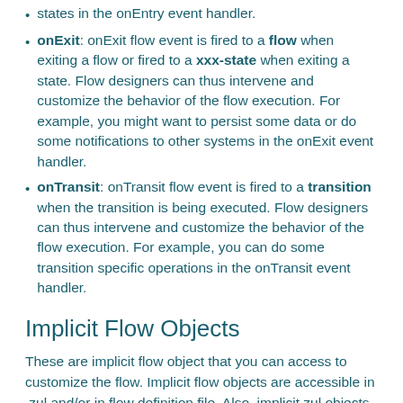onExit: onExit flow event is fired to a flow when exiting a flow or fired to a xxx-state when exiting a state. Flow designers can thus intervene and customize the behavior of the flow execution. For example, you might want to persist some data or do some notifications to other systems in the onExit event handler.
onTransit: onTransit flow event is fired to a transition when the transition is being executed. Flow designers can thus intervene and customize the behavior of the flow execution. For example, you can do some transition specific operations in the onTransit event handler.
Implicit Flow Objects
These are implicit flow object that you can access to customize the flow. Implicit flow objects are accessible in .zul and/or in flow definition file. Also, implicit zul objects (desktop, page, self, sessionScope, desktopScope, ...,etc..) are also accessible in flow definition file. Therefore, you can use